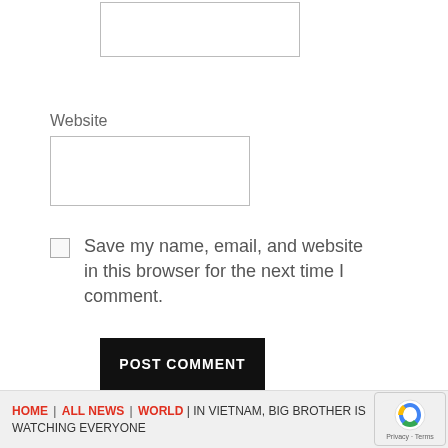[Figure (other): Empty text input box (top, partially visible)]
Website
[Figure (other): Empty text input box for Website field]
[Figure (other): Checkbox (unchecked)]
Save my name, email, and website in this browser for the next time I comment.
POST COMMENT
HOME | ALL NEWS | WORLD | IN VIETNAM, BIG BROTHER IS WATCHING EVERYONE